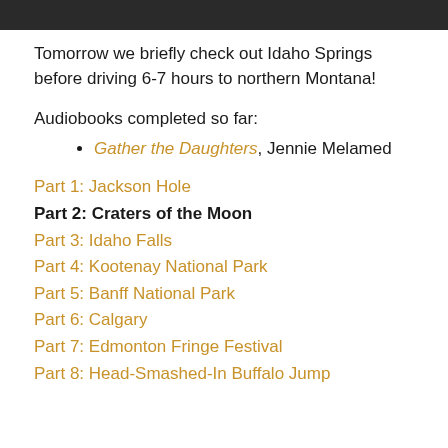[Figure (photo): Dark photograph strip at top of page]
Tomorrow we briefly check out Idaho Springs before driving 6-7 hours to northern Montana!
Audiobooks completed so far:
Gather the Daughters, Jennie Melamed
Part 1: Jackson Hole
Part 2: Craters of the Moon
Part 3: Idaho Falls
Part 4: Kootenay National Park
Part 5: Banff National Park
Part 6: Calgary
Part 7: Edmonton Fringe Festival
Part 8: Head-Smashed-In Buffalo Jump